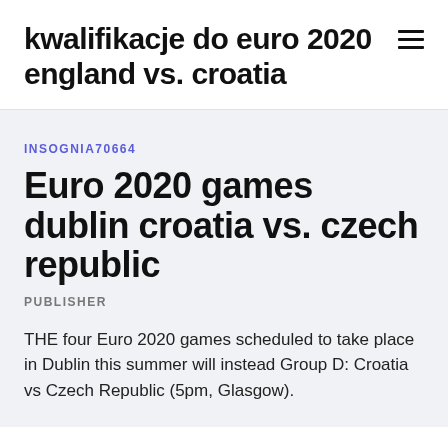kwalifikacje do euro 2020 england vs. croatia
INSOGNIA70664
Euro 2020 games dublin croatia vs. czech republic
PUBLISHER
THE four Euro 2020 games scheduled to take place in Dublin this summer will instead Group D: Croatia vs Czech Republic (5pm, Glasgow).